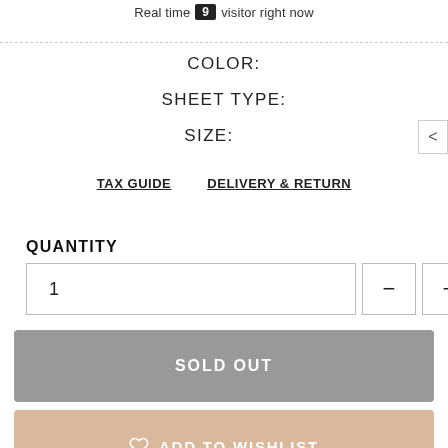Real time 9 visitor right now
COLOR:
SHEET TYPE:
SIZE:
TAX GUIDE    DELIVERY & RETURN
QUANTITY
1
SOLD OUT
ADD TO WISHLIST